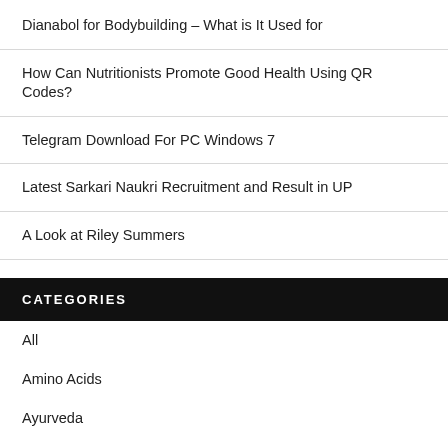Dianabol for Bodybuilding – What is It Used for
How Can Nutritionists Promote Good Health Using QR Codes?
Telegram Download For PC Windows 7
Latest Sarkari Naukri Recruitment and Result in UP
A Look at Riley Summers
CATEGORIES
All
Amino Acids
Ayurveda
Beauty Tips